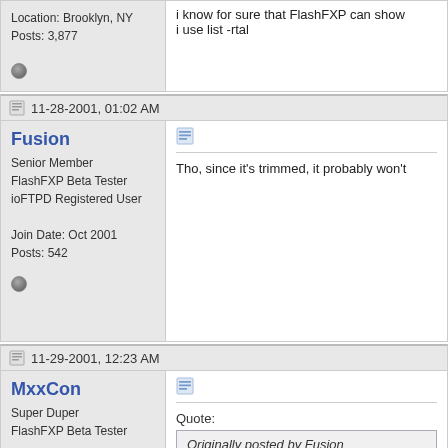Location: Brooklyn, NY
Posts: 3,877
i know for sure that FlashFXP can show
i use list -rtal
11-28-2001, 01:02 AM
Fusion
Senior Member
FlashFXP Beta Tester
ioFTPD Registered User
Join Date: Oct 2001
Posts: 542
Tho, since it's trimmed, it probably won't
11-29-2001, 12:23 AM
MxxCon
Super Duper
FlashFXP Beta Tester
Join Date: Oct 2001
Location: Brooklyn, NY
Posts: 3,877
Quote:
Originally posted by Fusion
Tho, since it's trimmed, it probably
no, but you'll see it and if you can't cd into